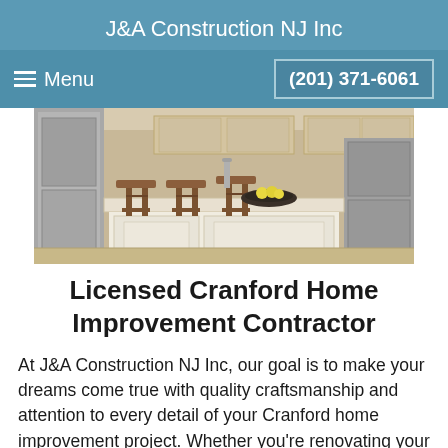J&A Construction NJ Inc
Menu   (201) 371-6061
[Figure (photo): Kitchen interior with white island, bar stools, and stainless steel appliances]
Licensed Cranford Home Improvement Contractor
At J&A Construction NJ Inc, our goal is to make your dreams come true with quality craftsmanship and attention to every detail of your Cranford home improvement project. Whether you're renovating your Cranford kitchen, remodeling your Cranford bathroom, or looking to add living space in your finished Cranford basement, J&A...